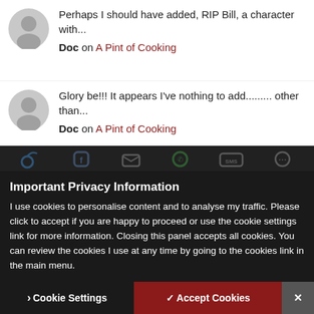Perhaps I should have added, RIP Bill, a character with...
Doc on A Pint of Cooking
Glory be!!! It appears I've nothing to add......... other than...
Doc on A Pint of Cooking
1234567890
michael smillainch on Incredibox
Important Privacy Information
I use cookies to personalise content and to analyse my traffic. Please click to accept if you are happy to proceed or use the cookie settings link for more information. Closing this panel accepts all cookies. You can review the cookies I use at any time by going to the cookies link in the main menu.
Cookie Settings
✓ Accept Cookies